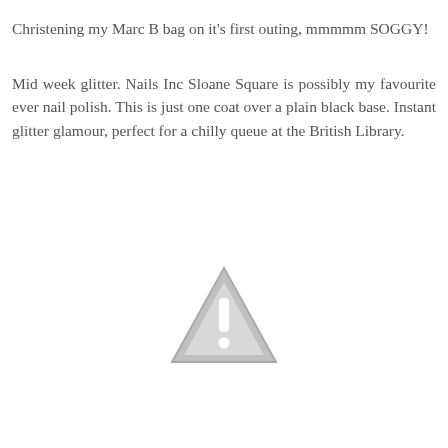Christening my Marc B bag on it's first outing, mmmmm SOGGY!
Mid week glitter. Nails Inc Sloane Square is possibly my favourite ever nail polish. This is just one coat over a plain black base. Instant glitter glamour, perfect for a chilly queue at the British Library.
[Figure (illustration): A grey warning/caution triangle icon with an exclamation mark inside, indicating a missing or unavailable image.]